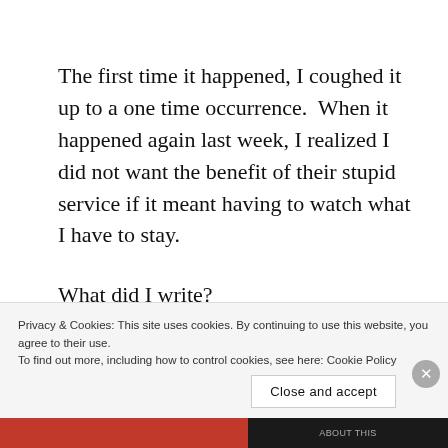The first time it happened, I coughed it up to a one time occurrence.  When it happened again last week, I realized I did not want the benefit of their stupid service if it meant having to watch what I have to stay.
What did I write?
Here’s the post: “Poor Brussels.  Again.  Sorry people: this is why the world is really getting
pissed off at Muslims.  Trump is right: Muslims and
Privacy & Cookies: This site uses cookies. By continuing to use this website, you agree to their use.
To find out more, including how to control cookies, see here: Cookie Policy
Close and accept